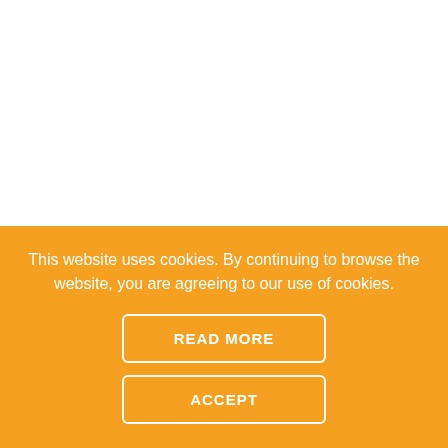eCommerce cross-border VAT Registration, VAT
This website uses cookies. By continuing to browse the website, you are agreeing to our use of cookies.
READ MORE
ACCEPT